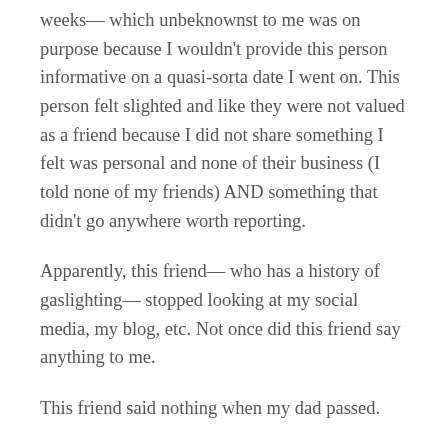weeks— which unbeknownst to me was on purpose because I wouldn't provide this person informative on a quasi-sorta date I went on. This person felt slighted and like they were not valued as a friend because I did not share something I felt was personal and none of their business (I told none of my friends) AND something that didn't go anywhere worth reporting.
Apparently, this friend— who has a history of gaslighting— stopped looking at my social media, my blog, etc. Not once did this friend say anything to me.
This friend said nothing when my dad passed.
So, being at the end of my rope in every category, I lashed out.
I said mean things. The same mean things I have said to